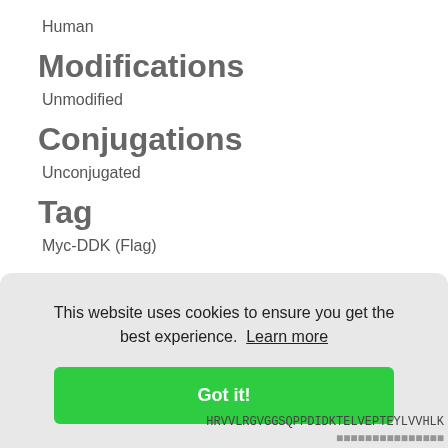Human
Modifications
Unmodified
Conjugations
Unconjugated
Tag
Myc-DDK (Flag)
Predicted Molecular Weight
This website uses cookies to ensure you get the best experience. Learn more
Got it!
HRVVLRGVGGSQPPDIDKTELVEPTEYLVVHLK